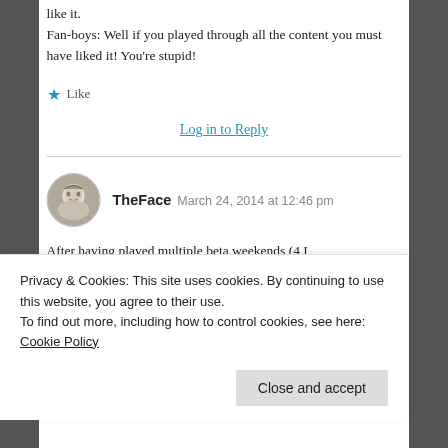like it.
Fan-boys: Well if you played through all the content you must have liked it! You're stupid!
★ Like
Log in to Reply
TheFace  March 24, 2014 at 12:46 pm
After having played multiple beta weekends (4 I believe) I…
Privacy & Cookies: This site uses cookies. By continuing to use this website, you agree to their use.
To find out more, including how to control cookies, see here: Cookie Policy
Close and accept